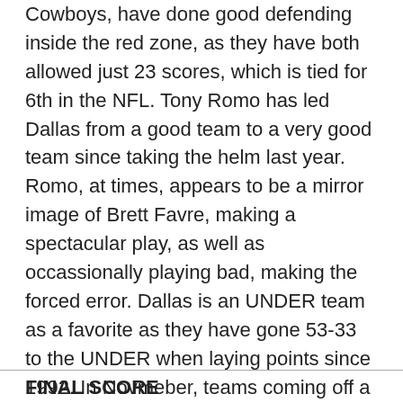Cowboys, have done good defending inside the red zone, as they have both allowed just 23 scores, which is tied for 6th in the NFL. Tony Romo has led Dallas from a good team to a very good team since taking the helm last year. Romo, at times, appears to be a mirror image of Brett Favre, making a spectacular play, as well as occassionally playing bad, making the forced error. Dallas is an UNDER team as a favorite as they have gone 53-33 to the UNDER when laying points since 1992. In Novmeber, teams coming off a road game in which both teams scored scored 24+ (GB 37 DET 26) have produced UNDERs the following week at a rate of 66-31. We have seen many of these high profile games with two potent offenses get played much closer to the vest (best example: NE-IND). We also have a system that is live for this game that has produced unders over 60% of the time, so we will back the UNDER here.
FINAL SCORE